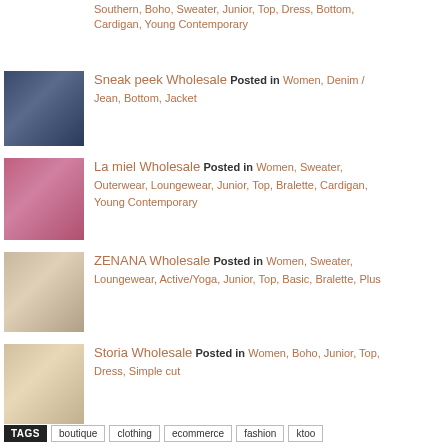Southern, Boho, Sweater, Junior, Top, Dress, Bottom, Cardigan, Young Contemporary
Sneak peek Wholesale Posted in Women, Denim / Jean, Bottom, Jacket
La miel Wholesale Posted in Women, Sweater, Outerwear, Loungewear, Junior, Top, Bralette, Cardigan, Young Contemporary
ZENANA Wholesale Posted in Women, Sweater, Loungewear, Active/Yoga, Junior, Top, Basic, Bralette, Plus
Storia Wholesale Posted in Women, Boho, Junior, Top, Dress, Simple cut
TAGS boutique clothing ecommerce fashion ktoo